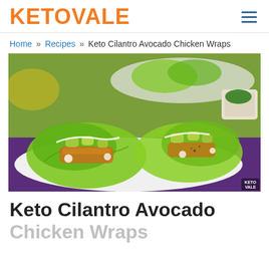KETOVALE
Home » Recipes » Keto Cilantro Avocado Chicken Wraps
[Figure (photo): Keto lettuce wraps filled with cilantro avocado chicken, topped with diced avocado and creamy white dressing, served on a white plate with purple placemat. A small white bowl of herbs is visible in the background. KETO VALE watermark in bottom right corner.]
Keto Cilantro Avocado Chicken Wraps